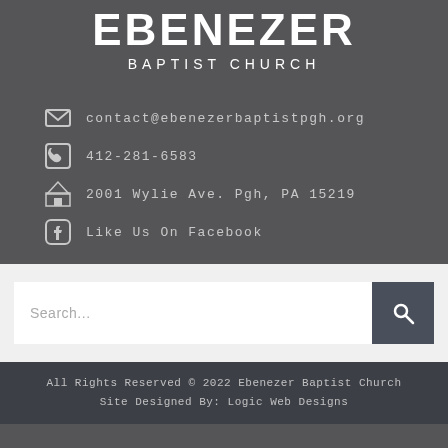EBENEZER BAPTIST CHURCH
contact@ebenezerbaptistpgh.org
412-281-6583
2001 Wylie Ave. Pgh, PA 15219
Like Us On Facebook
Search...
All Rights Reserved © 2022 Ebenezer Baptist Church
Site Designed By: Logic Web Designs